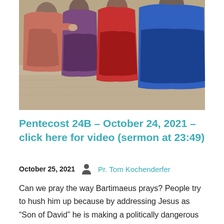[Figure (illustration): A Renaissance-style painting showing several figures in colorful robes (pink/salmon, purple, red, blue) against a stone/wall background. The lower portion shows a sandy stone texture.]
Pentecost 24B – October 24, 2021 – click here for video (sermon at 23:49)
October 25, 2021   Pr. Tom Kochenderfer
Can we pray the way Bartimaeus prays? People try to hush him up because by addressing Jesus as “Son of David” he is making a politically dangerous claim that Jesus is the rightful king. Could we pray and speak so that...